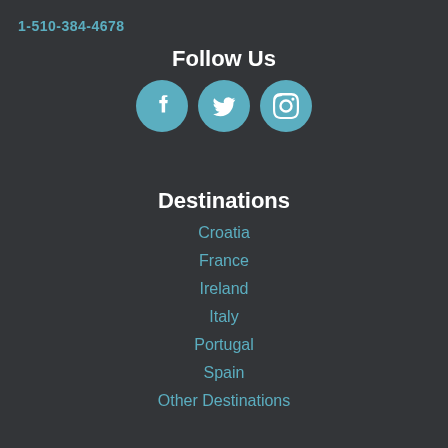1-510-384-4678
Follow Us
[Figure (other): Social media icons: Facebook, Twitter, Instagram in teal circles]
Destinations
Croatia
France
Ireland
Italy
Portugal
Spain
Other Destinations
Stay in Touch
Name
Email